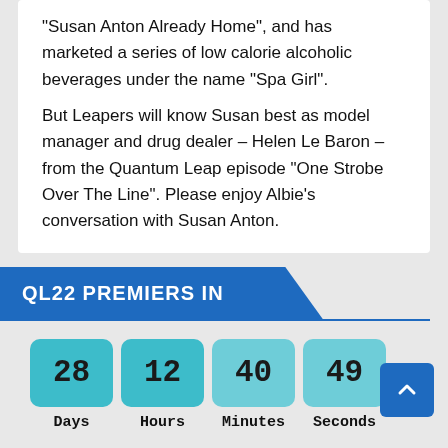“Susan Anton Already Home”, and has marketed a series of low calorie alcoholic beverages under the name “Spa Girl”.
But Leapers will know Susan best as model manager and drug dealer – Helen Le Baron – from the Quantum Leap episode “One Strobe Over The Line”. Please enjoy Albie’s conversation with Susan Anton.
QL22 PREMIERS IN
28 Days  12 Hours  40 Minutes  49 Seconds